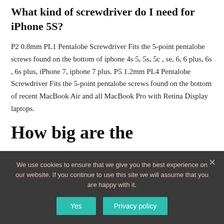What kind of screwdriver do I need for iPhone 5S?
P2 0.8mm PL1 Pentalobe Screwdriver Fits the 5-point pentalobe screws found on the bottom of iphone 4s 5, 5s, 5c , se, 6, 6 plus, 6s , 6s plus, iPhone 7, iphone 7 plus. P5 1.2mm PL4 Pentalobe Screwdriver Fits the 5-point pentalobe screws found on the bottom of recent MacBook Air and all MacBook Pro with Retina Display laptops.
How big are the
We use cookies to ensure that we give you the best experience on our website. If you continue to use this site we will assume that you are happy with it.